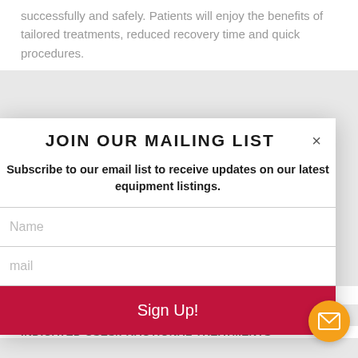successfully and safely. Patients will enjoy the benefits of tailored treatments, reduced recovery time and quick procedures.
JOIN OUR MAILING LIST
Subscribe to our email list to receive updates on our latest equipment listings.
Name
Email
Sign Up!
density levels give you unparalleled precision.
INDICATED USES/FRACTIONAL TREATMENTS